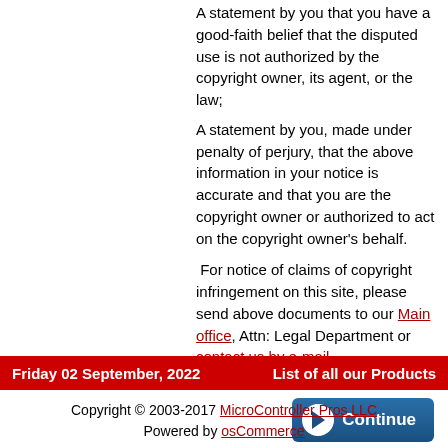A statement by you that you have a good-faith belief that the disputed use is not authorized by the copyright owner, its agent, or the law;
A statement by you, made under penalty of perjury, that the above information in your notice is accurate and that you are the copyright owner or authorized to act on the copyright owner's behalf.
For notice of claims of copyright infringement on this site, please send above documents to our Main office, Attn: Legal Department or contact us by e-mail
[Figure (other): Continue button with play arrow icon on dark blue background]
Friday 02 September, 2022    List of all our Products
Copyright © 2003-2017 MicroController Pros LLC
Powered by osCommerce